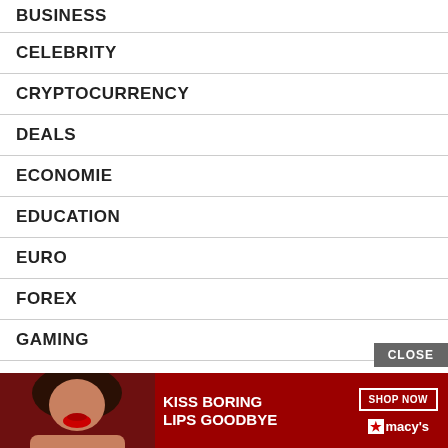BUSINESS
CELEBRITY
CRYPTOCURRENCY
DEALS
ECONOMIE
EDUCATION
EURO
FOREX
GAMING
HEALTH
LIFE STYLE
NBA
[Figure (other): Advertisement banner for Macy's: 'KISS BORING LIPS GOODBYE' with SHOP NOW button and Macy's star logo, with image of woman with red lips. Includes a CLOSE button overlay.]